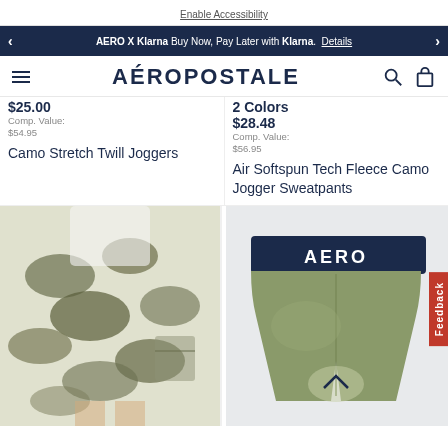Enable Accessibility
AERO X Klarna Buy Now, Pay Later with Klarna. Details
AÉROPOSTALE
$25.00
Comp. Value: $54.95
Camo Stretch Twill Joggers
2 Colors
$28.48
Comp. Value: $56.95
Air Softspun Tech Fleece Camo Jogger Sweatpants
[Figure (photo): Man wearing camo cargo shorts with white t-shirt]
[Figure (photo): Olive green AERO boxer briefs with navy waistband]
Feedback